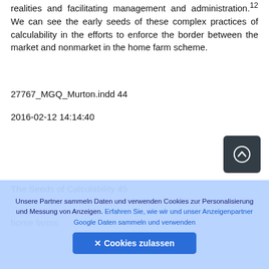realities and facilitating management and administration.12 We can see the early seeds of these complex practices of calculability in the efforts to enforce the border between the market and nonmarket in the home farm scheme.
27767_MGQ_Murton.indd 44
2016-02-12 14:14:40
[Figure (other): Navigation button with up-arrow icon, dark gray rounded square]
The Seeds of Calculability 45
home farms
Unsere Partner sammeln Daten und verwenden Cookies zur Personalisierung und Messung von Anzeigen. Erfahren Sie, wie wir und unser Anzeigenpartner Google Daten sammeln und verwenden
✕ Cookies zulassen